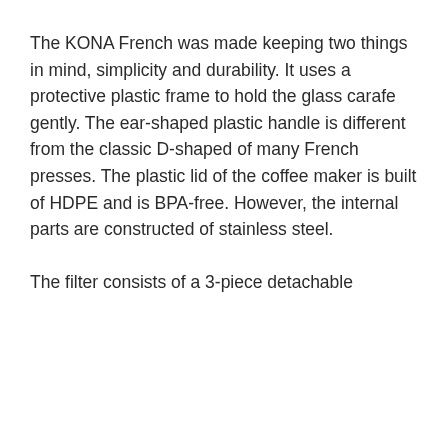The KONA French was made keeping two things in mind, simplicity and durability. It uses a protective plastic frame to hold the glass carafe gently. The ear-shaped plastic handle is different from the classic D-shaped of many French presses. The plastic lid of the coffee maker is built of HDPE and is BPA-free. However, the internal parts are constructed of stainless steel.

The filter consists of a 3-piece detachable